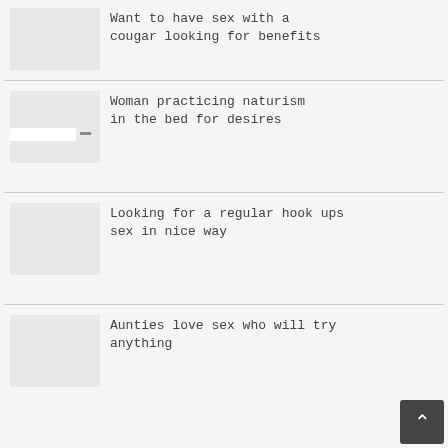Want to have sex with a cougar looking for benefits
Woman practicing naturism in the bed for desires
Looking for a regular hook ups sex in nice way
Aunties love sex who will try anything